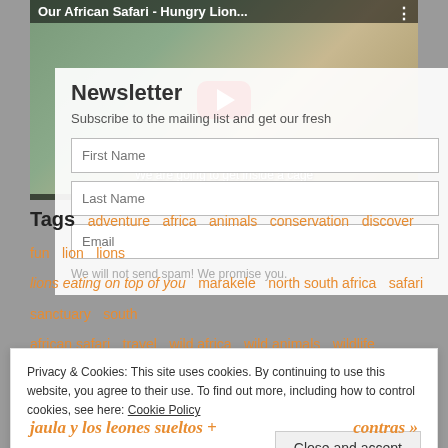[Figure (screenshot): YouTube video thumbnail showing a woman with raised hands in front of lion statues. Title bar reads 'Our African Safari - Hungry Lion...' with a red YouTube play button overlay. Subtitle: 'We are going to get inside a cage']
Newsletter
Subscribe to the mailing list and get our fresh
First Name
Last Name
Email
We will not send spam! We promise you.
Tags
adventure  africa  animals  conservation  discover  fun  lion  lions  lions eating on top of you  marakele  north south africa  safari  sanctuary  south african safari  travel  wild africa  wild animals  wildlife
Privacy & Cookies: This site uses cookies. By continuing to use this website, you agree to their use. To find out more, including how to control cookies, see here: Cookie Policy
Close and accept
jaula y los leones sueltos +
contras »